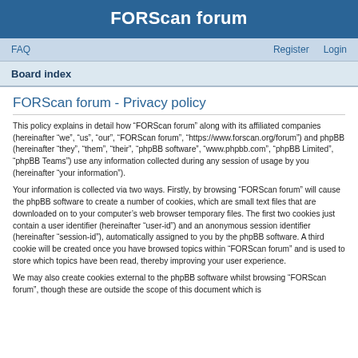FORScan forum
FAQ   Register   Login
Board index
FORScan forum - Privacy policy
This policy explains in detail how “FORScan forum” along with its affiliated companies (hereinafter “we”, “us”, “our”, “FORScan forum”, “https://www.forscan.org/forum”) and phpBB (hereinafter “they”, “them”, “their”, “phpBB software”, “www.phpbb.com”, “phpBB Limited”, “phpBB Teams”) use any information collected during any session of usage by you (hereinafter “your information”).
Your information is collected via two ways. Firstly, by browsing “FORScan forum” will cause the phpBB software to create a number of cookies, which are small text files that are downloaded on to your computer’s web browser temporary files. The first two cookies just contain a user identifier (hereinafter “user-id”) and an anonymous session identifier (hereinafter “session-id”), automatically assigned to you by the phpBB software. A third cookie will be created once you have browsed topics within “FORScan forum” and is used to store which topics have been read, thereby improving your user experience.
We may also create cookies external to the phpBB software whilst browsing “FORScan forum”, though these are outside the scope of this document which is